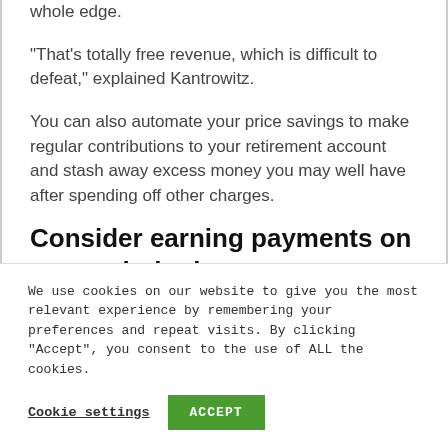whole edge.
“That’s totally free revenue, which is difficult to defeat,” explained Kantrowitz.
You can also automate your price savings to make regular contributions to your retirement account and stash away excess money you may well have after spending off other charges.
Consider earning payments on your scholar loans anyway
We use cookies on our website to give you the most relevant experience by remembering your preferences and repeat visits. By clicking “Accept”, you consent to the use of ALL the cookies.
Cookie settings
ACCEPT